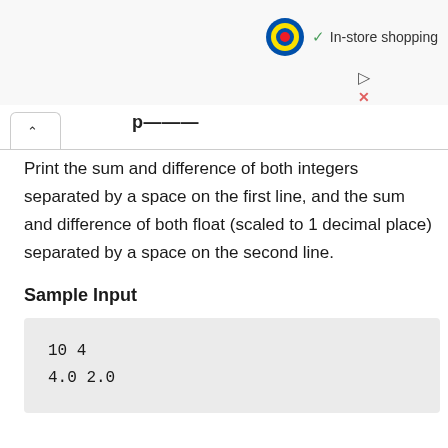[Figure (screenshot): Lidl advertisement banner showing Lidl logo and 'In-store shopping' text with checkmark, plus play and close buttons]
Print the sum and difference of both integers separated by a space on the first line, and the sum and difference of both float (scaled to 1 decimal place) separated by a space on the second line.
Sample Input
10 4
4.0 2.0